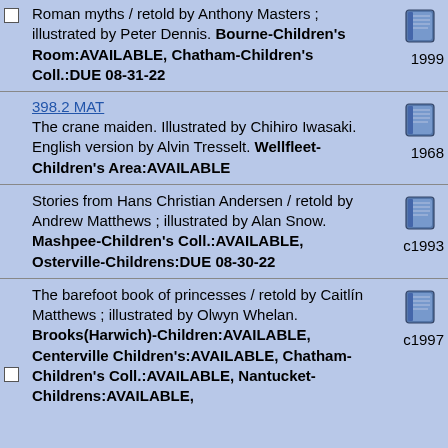Roman myths / retold by Anthony Masters ; illustrated by Peter Dennis. Bourne-Children's Room:AVAILABLE, Chatham-Children's Coll.:DUE 08-31-22 1999
398.2 MAT
The crane maiden. Illustrated by Chihiro Iwasaki. English version by Alvin Tresselt. Wellfleet-Children's Area:AVAILABLE 1968
Stories from Hans Christian Andersen / retold by Andrew Matthews ; illustrated by Alan Snow. Mashpee-Children's Coll.:AVAILABLE, Osterville-Childrens:DUE 08-30-22 c1993
The barefoot book of princesses / retold by Caitlín Matthews ; illustrated by Olwyn Whelan. Brooks(Harwich)-Children:AVAILABLE, Centerville Children's:AVAILABLE, Chatham-Children's Coll.:AVAILABLE, Nantucket-Childrens:AVAILABLE, c1997